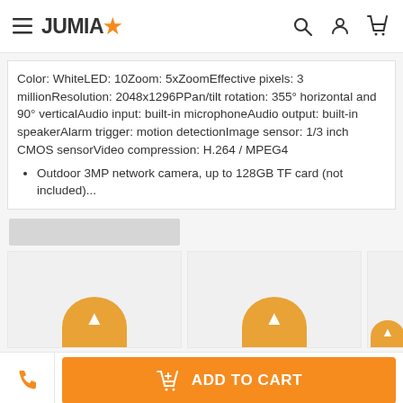JUMIA
Color: WhiteLED: 10Zoom: 5xZoomEffective pixels: 3 millionResolution: 2048x1296PPan/tilt rotation: 355° horizontal and 90° verticalAudio input: built-in microphoneAudio output: built-in speakerAlarm trigger: motion detectionImage sensor: 1/3 inch CMOS sensorVideo compression: H.264 / MPEG4
Outdoor 3MP network camera, up to 128GB TF card (not included)...
[Figure (other): Gray placeholder bar for product section label]
[Figure (other): Product card 1 with orange arrow icon overlay]
[Figure (other): Product card 2 with orange arrow icon overlay]
[Figure (other): Product card 3 partial with orange arrow icon overlay]
ADD TO CART
This website uses cookies. For further information on how we use cookies you can read our Privacy and Cookie notice